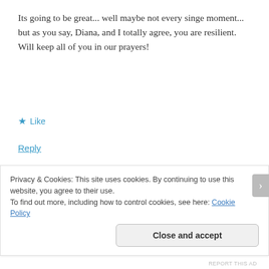Its going to be great... well maybe not every singe moment... but as you say, Diana, and I totally agree, you are resilient. Will keep all of you in our prayers!
★ Like
Reply
[Figure (photo): Round avatar photo of a woman with sunglasses, framed by a dashed circular border]
surprisinglyspecial
AUGUST 29, 2016 AT 6:21 AM
Privacy & Cookies: This site uses cookies. By continuing to use this website, you agree to their use.
To find out more, including how to control cookies, see here: Cookie Policy
Close and accept